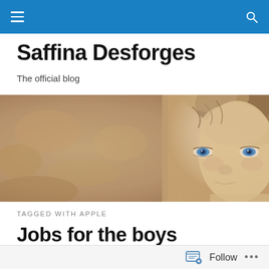Navigation bar with hamburger menu and search icon
Saffina Desforges
The official blog
[Figure (photo): Sepia-toned close-up photo of a young boy with blue eyes, face partially visible on the right side against a blurred warm background]
TAGGED WITH APPLE
Jobs for the boys (Goodbye Mr. Apple)
Follow ...